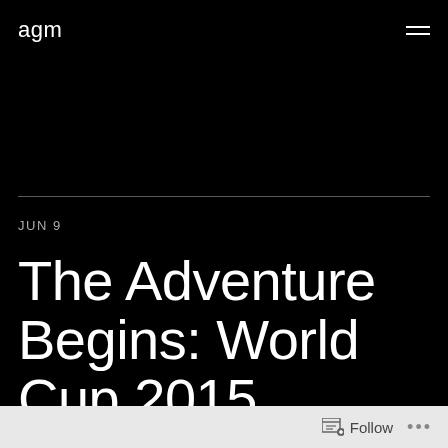agm
JUN 9
The Adventure Begins: World Cup 2015